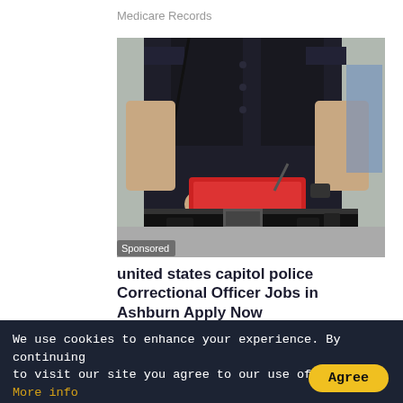Medicare Records
[Figure (photo): Close-up of a police officer writing on a red clipboard/tablet, wearing a black uniform with duty belt and holster. Sponsored label visible in bottom-left of image.]
united states capitol police Correctional Officer Jobs in Ashburn Apply Now
jobble.com
He Can Show You Th
We use cookies to enhance your experience. By continuing to visit our site you agree to our use of cookies. More info
Agree